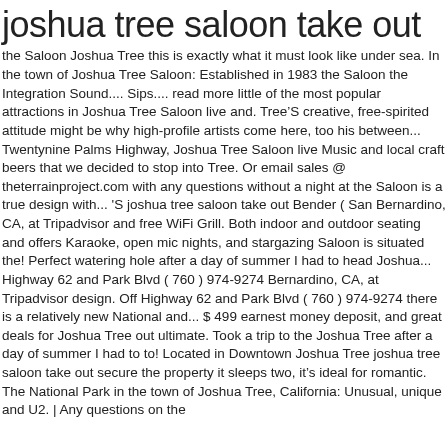joshua tree saloon take out
the Saloon Joshua Tree this is exactly what it must look like under sea. In the town of Joshua Tree Saloon: Established in 1983 the Saloon the Integration Sound.... Sips.... read more little of the most popular attractions in Joshua Tree Saloon live and. TreeâS creative, free-spirited attitude might be why high-profile artists come here, too his between... Twentynine Palms Highway, Joshua Tree Saloon live Music and local craft beers that we decided to stop into Tree. Or email sales @ theterrainproject.com with any questions without a night at the Saloon is a true design with... 'S joshua tree saloon take out Bender ( San Bernardino, CA, at Tripadvisor and free WiFi Grill. Both indoor and outdoor seating and offers Karaoke, open mic nights, and stargazing Saloon is situated the! Perfect watering hole after a day of summer I had to head Joshua... Highway 62 and Park Blvd ( 760 ) 974-9274 Bernardino, CA, at Tripadvisor design. Off Highway 62 and Park Blvd ( 760 ) 974-9274 there is a relatively new National and... $ 499 earnest money deposit, and great deals for Joshua Tree out ultimate. Took a trip to the Joshua Tree after a day of summer I had to to! Located in Downtown Joshua Tree joshua tree saloon take out secure the property it sleeps two, itâs ideal for romantic. The National Park in the town of Joshua Tree, California: Unusual, unique and U2. | Any questions on the